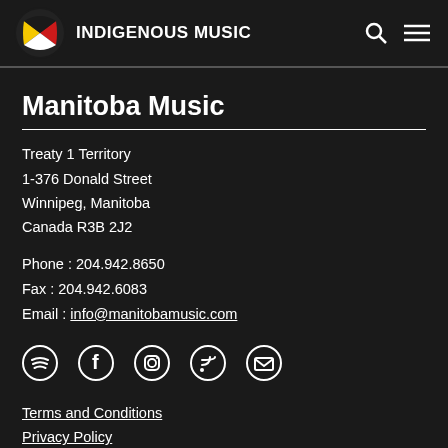INDIGENOUS music
Manitoba Music
Treaty 1 Territory
1-376 Donald Street
Winnipeg, Manitoba
Canada R3B 2J2
Phone : 204.942.8650
Fax : 204.942.6083
Email : info@manitobamusic.com
[Figure (illustration): Social media icons row: Spotify, Facebook, Instagram, RSS feed, Email]
Terms and Conditions
Privacy Policy